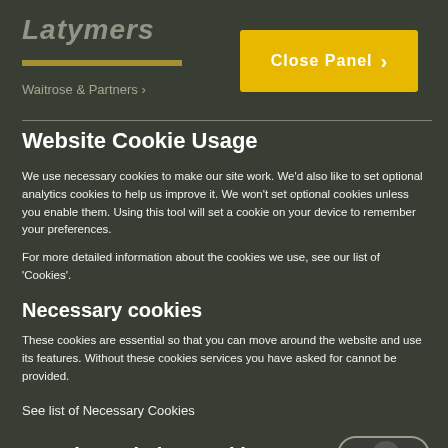[Figure (screenshot): Background map view partially visible behind cookie consent overlay panel]
Website Cookie Usage
We use necessary cookies to make our site work. We'd also like to set optional analytics cookies to help us improve it. We won't set optional cookies unless you enable them. Using this tool will set a cookie on your device to remember your preferences.
For more detailed information about the cookies we use, see our list of 'Cookies'.
Necessary cookies
These cookies are essential so that you can move around the website and use its features. Without these cookies services you have asked for cannot be provided.
See list of Necessary Cookies
Google Analytics Cookies
We'd like to set Google Analytics cookies to help us improve our